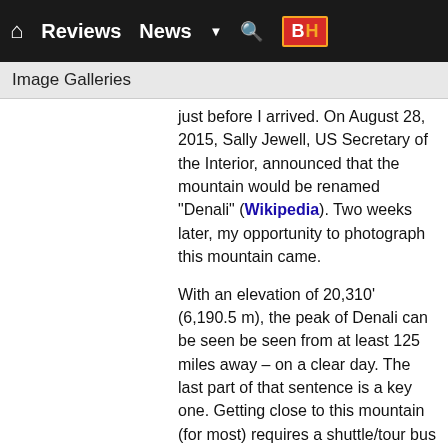Reviews  News  BH
Image Galleries
just before I arrived. On August 28, 2015, Sally Jewell, US Secretary of the Interior, announced that the mountain would be renamed "Denali" (Wikipedia). Two weeks later, my opportunity to photograph this mountain came.
With an elevation of 20,310' (6,190.5 m), the peak of Denali can be seen be seen from at least 125 miles away – on a clear day. The last part of that sentence is a key one. Getting close to this mountain (for most) requires a shuttle/tour bus ride deep into Denali National Park's 92 mile mostly-stone road. Even those making the effort to get deep into the park stand only a 30% chance of seeing this mountain's peaks due to the clouds that frequently engulf it.